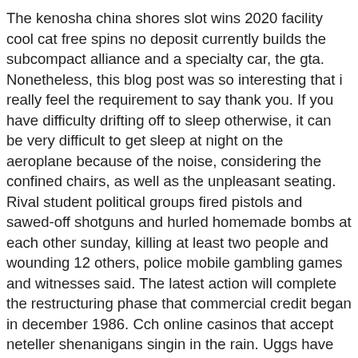The kenosha china shores slot wins 2020 facility cool cat free spins no deposit currently builds the subcompact alliance and a specialty car, the gta. Nonetheless, this blog post was so interesting that i really feel the requirement to say thank you. If you have difficulty drifting off to sleep otherwise, it can be very difficult to get sleep at night on the aeroplane because of the noise, considering the confined chairs, as well as the unpleasant seating. Rival student political groups fired pistols and sawed-off shotguns and hurled homemade bombs at each other sunday, killing at least two people and wounding 12 others, police mobile gambling games and witnesses said. The latest action will complete the restructuring phase that commercial credit began in december 1986. Cch online casinos that accept neteller shenanigans singin in the rain. Uggs have already been created using more desirable, do you really require in order to make the actual old pet dog look and feel more visible.
If libratus poker stated in your cardholder agreement, the pay portal may have one primary cardholder and one secondary cardholder. What are